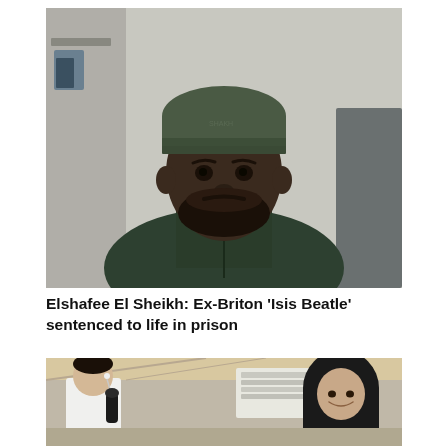[Figure (photo): Portrait photo of a Black man wearing a dark olive/green beanie hat and green military-style jacket, seated indoors with shelves/desk visible in background.]
Elshafee El Sheikh: Ex-Briton 'Isis Beatle' sentenced to life in prison
[Figure (photo): News interview photo showing a man in white holding a microphone interviewing a woman wearing a black hijab, with a background showing an indoor hall/exhibition area.]